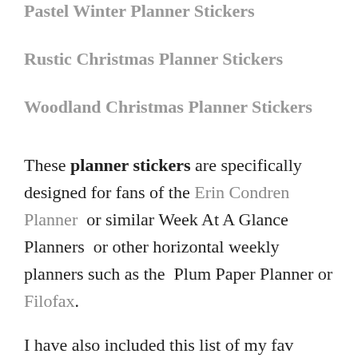Pastel Winter Planner Stickers
Rustic Christmas Planner Stickers
Woodland Christmas Planner Stickers
These planner stickers are specifically designed for fans of the Erin Condren Planner  or similar Week At A Glance Planners  or other horizontal weekly planners such as the  Plum Paper Planner or Filofax.
I have also included this list of my fav